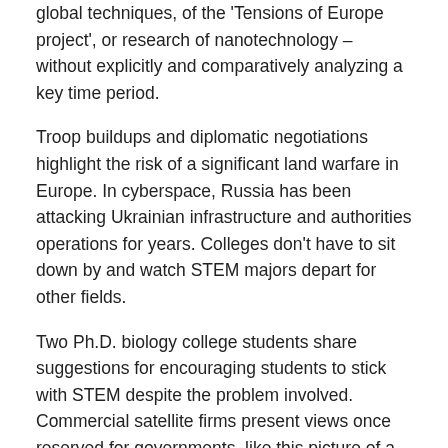global techniques, of the 'Tensions of Europe project', or research of nanotechnology – without explicitly and comparatively analyzing a key time period.
Troop buildups and diplomatic negotiations highlight the risk of a significant land warfare in Europe. In cyberspace, Russia has been attacking Ukrainian infrastructure and authorities operations for years. Colleges don't have to sit down by and watch STEM majors depart for other fields.
Two Ph.D. biology college students share suggestions for encouraging students to stick with STEM despite the problem involved. Commercial satellite firms present views once reserved for governments, like this picture of a Russian navy training facility in Crimea. Zoom and social distancing ushered in the futuristic videophone fantasy AT&T wished and consumers rejected for many years.
Yet even for a recent English word 'technology' has come to embrace usually conflicting meanings. First, I will provide a summary of Eric Schatzberg's necessary new opus.